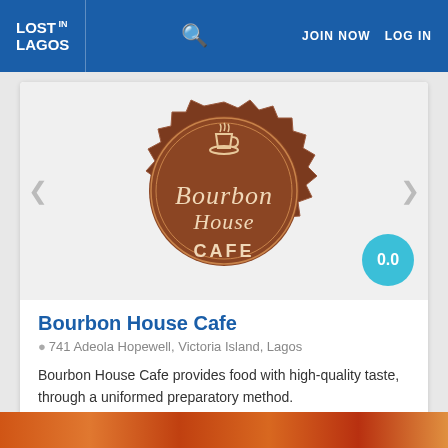LOST IN LAGOS | Search | JOIN NOW | LOG IN
[Figure (logo): Bourbon House Cafe logo - brown circular badge with scalloped edge, coffee cup at top, script text 'Bourbon House CAFE']
Bourbon House Cafe
741 Adeola Hopewell, Victoria Island, Lagos
Bourbon House Cafe provides food with high-quality taste, through a uniformed preparatory method.
0 REVIEWS
SHARE